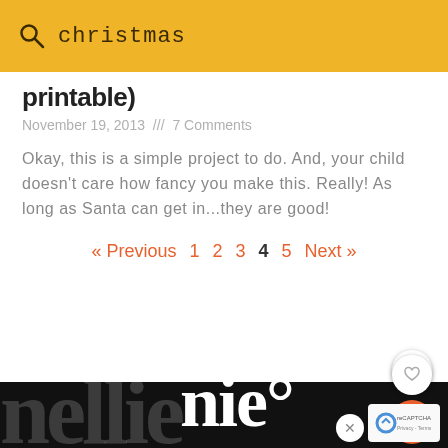christmas
printable)
November 19, 2013  ///  7 Comments
Okay, this is a simple project to do. And, your child doesn't care how fancy you make this. Really! As long as Santa can get in...they are good!
« Previous  1  2  3  4  5  Next »
[Figure (logo): Website logo text 'nellie' in large white serif font on black background]